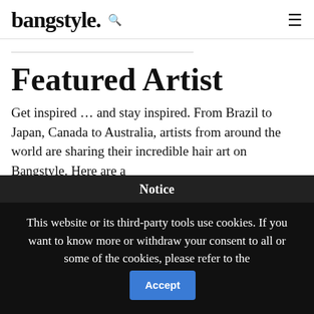bangstyle.
Featured Artist
Get inspired … and stay inspired. From Brazil to Japan, Canada to Australia, artists from around the world are sharing their incredible hair art on Bangstyle. Here are a
Notice
This website or its third-party tools use cookies. If you want to know more or withdraw your consent to all or some of the cookies, please refer to the
Accept